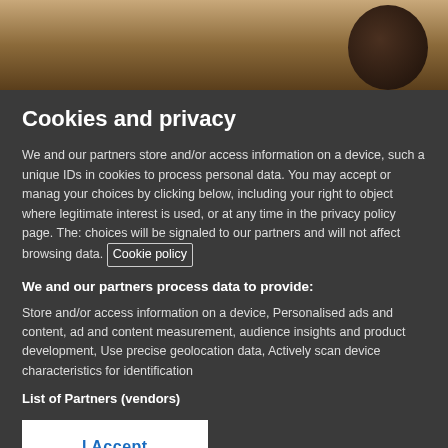[Figure (photo): Partial photo of what appears to be a dark rounded object against a sandy/earthy textured background]
Cookies and privacy
We and our partners store and/or access information on a device, such as unique IDs in cookies to process personal data. You may accept or manage your choices by clicking below, including your right to object where legitimate interest is used, or at any time in the privacy policy page. These choices will be signaled to our partners and will not affect browsing data. Cookie policy
We and our partners process data to provide:
Store and/or access information on a device, Personalised ads and content, ad and content measurement, audience insights and product development, Use precise geolocation data, Actively scan device characteristics for identification
List of Partners (vendors)
I Accept